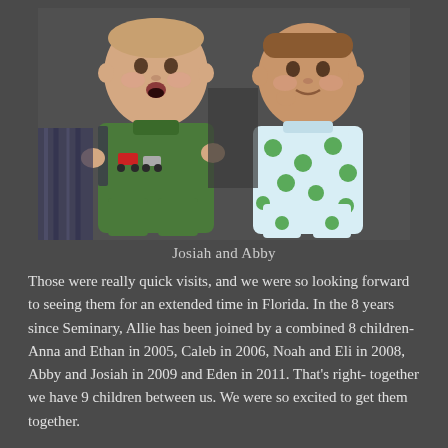[Figure (photo): Two babies lying side by side. The baby on the left wears a green outfit with truck/tractor graphics. The baby on the right wears a white and blue polka dot sleeper. Background is dark gray.]
Josiah and Abby
Those were really quick visits, and we were so looking forward to seeing them for an extended time in Florida. In the 8 years since Seminary, Allie has been joined by a combined 8 children- Anna and Ethan in 2005, Caleb in 2006, Noah and Eli in 2008, Abby and Josiah in 2009 and Eden in 2011. That's right- together we have 9 children between us. We were so excited to get them together.
Friday night we spent the night at the Wilsons. The kids